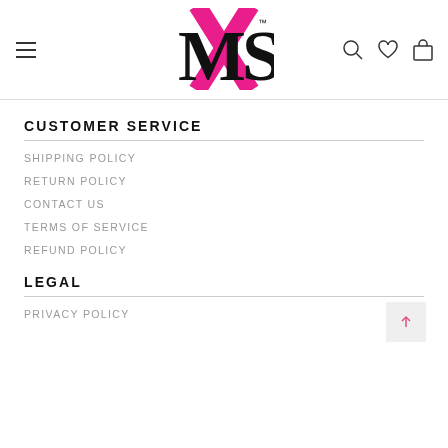MXS logo with hamburger menu, search, heart, and bag icons
CUSTOMER SERVICE
SHIPPING POLICY
RETURN POLICY
CONTACT US
TERMS OF SERVICE
REFUND POLICY
LEGAL
PRIVACY POLICY